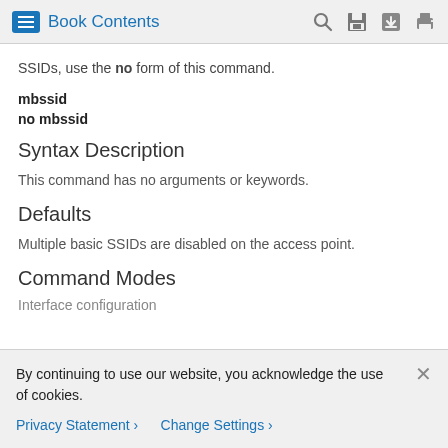Book Contents
SSIDs, use the no form of this command.
mbssid
no mbssid
Syntax Description
This command has no arguments or keywords.
Defaults
Multiple basic SSIDs are disabled on the access point.
Command Modes
Interface configuration
By continuing to use our website, you acknowledge the use of cookies.
Privacy Statement > Change Settings >